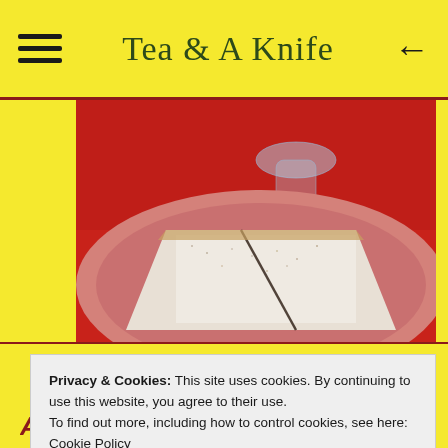Tea & A Knife
[Figure (photo): Close-up photo of a slice of cake dusted with powdered sugar on a pink/red plate, with a glass vase in the background on a red surface]
Privacy & Cookies: This site uses cookies. By continuing to use this website, you agree to their use.
To find out more, including how to control cookies, see here:
Cookie Policy
Close and accept
Anytime I craving some sort of cake and